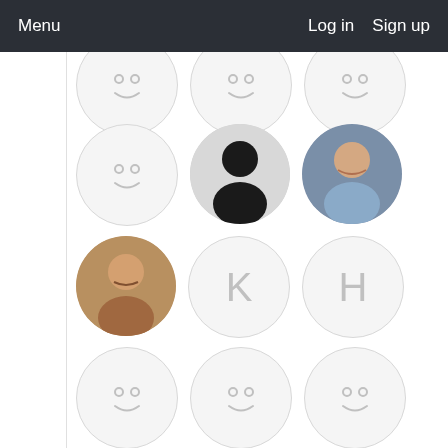Menu   Log in   Sign up
[Figure (screenshot): A web application user interface showing a navigation bar with Menu, Log in, and Sign up links, and a grid of user avatar circles below. Avatars include smiley face placeholders, a silhouette icon, letter initials (K, H), and real user photos of men.]